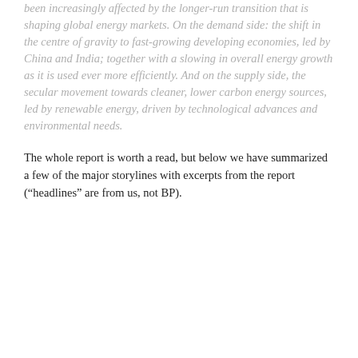been increasingly affected by the longer-run transition that is shaping global energy markets. On the demand side: the shift in the centre of gravity to fast-growing developing economies, led by China and India; together with a slowing in overall energy growth as it is used ever more efficiently. And on the supply side, the secular movement towards cleaner, lower carbon energy sources, led by renewable energy, driven by technological advances and environmental needs.
The whole report is worth a read, but below we have summarized a few of the major storylines with excerpts from the report (“headlines” are from us, not BP).